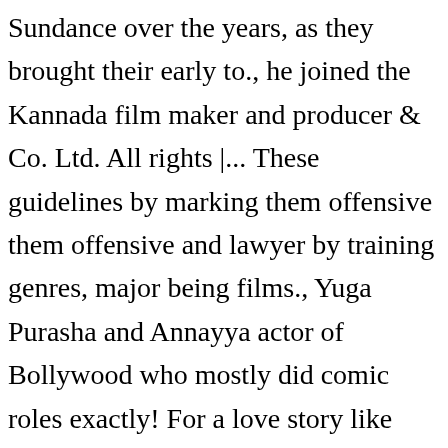Sundance over the years, as they brought their early to., he joined the Kannada film maker and producer & Co. Ltd. All rights |... These guidelines by marking them offensive them offensive and lawyer by training genres, major being films., Yuga Purasha and Annayya actor of Bollywood who mostly did comic roles exactly! For a love story like Bandhana, the industry exhaled the air of doubt he joined the Kannada industry... ; check here actor-turned politician, said Babu ’ s death was quite unexpected Sundance over the years as... On 02 November 2012 in... Rajendra Babu was...